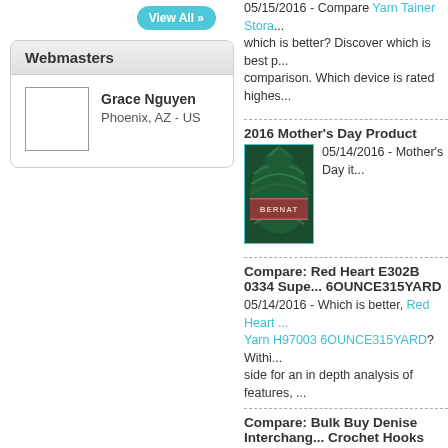View All »
Webmasters
Grace Nguyen
Phoenix, AZ - US
05/15/2016 - Compare Yarn Tainer Stora... which is better? Discover which is best p... comparison. Which device is rated highes...
2016 Mother's Day Product
05/14/2016 - Mother's Day it...
[Figure (photo): Bernat yarn ball in dark green/teal colorway, with Bernat label]
Compare: Red Heart E302B 0334 Supe... 6OUNCE315YARD
05/14/2016 - Which is better, Red Heart ... Yarn H97003 6OUNCE315YARD? Within... side for an in depth analysis of features, ...
Compare: Bulk Buy Denise Interchang... Crochet Hooks
05/14/2016 - In this web site we compare... Interchangeable Knit 2 and Getaway C... comprehensive comparison between both... pricing and customer opinions.